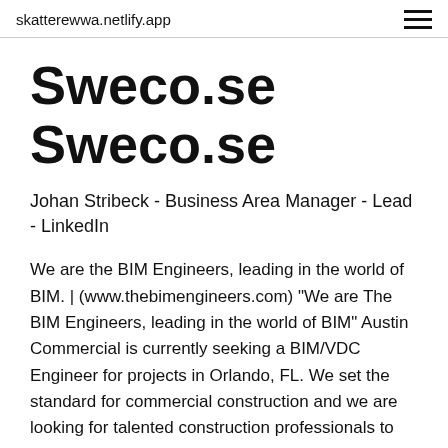skatterewwa.netlify.app
Sweco.se Sweco.se
Johan Stribeck - Business Area Manager - Lead - LinkedIn
We are the BIM Engineers, leading in the world of BIM. | (www.thebimengineers.com) "We are The BIM Engineers, leading in the world of BIM" Austin Commercial is currently seeking a BIM/VDC Engineer for projects in Orlando, FL. We set the standard for commercial construction and we are looking for talented construction professionals to The BIM Engineer is an entry level VDC resource.